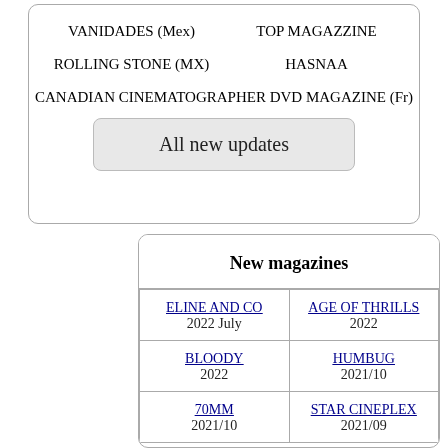VANIDADES (Mex)
TOP MAGAZZINE
ROLLING STONE (MX)
HASNAA
CANADIAN CINEMATOGRAPHER DVD MAGAZINE (Fr)
All new updates
New magazines
| ELINE AND CO
2022 July | AGE OF THRILLS
2022 |
| BLOODY
2022 | HUMBUG
2021/10 |
| 70MM
2021/10 | STAR CINEPLEX
2021/09 |